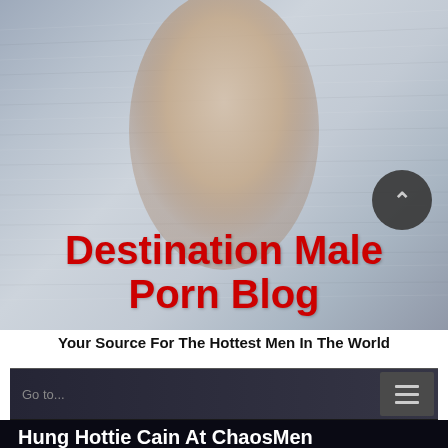[Figure (photo): Website header banner showing a shirtless muscular male model against a metallic/brushed steel background, with a dark circular scroll-up button in the upper right]
Destination Male Porn Blog
Your Source For The Hottest Men In The World
Go to... ≡
Hung Hottie Cain At ChaosMen
December 30th, 2010